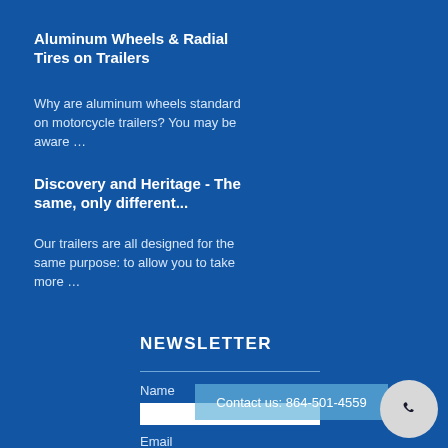Aluminum Wheels & Radial Tires on Trailers
Why are aluminum wheels standard on motorcycle trailers? You may be aware …
Discovery and Heritage - The same, only different...
Our trailers are all designed for the same purpose: to allow you to take more …
NEWSLETTER
Name
Contact us: 864-501-4559
Email